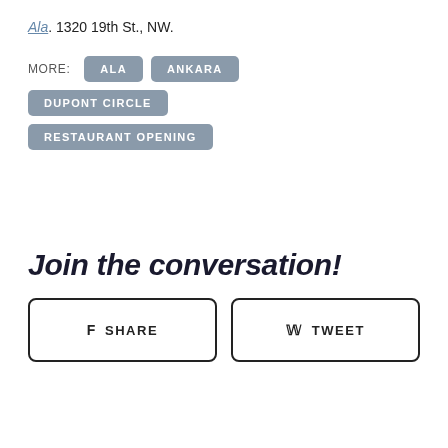Ala. 1320 19th St., NW.
MORE: ALA  ANKARA  DUPONT CIRCLE  RESTAURANT OPENING
Join the conversation!
SHARE   TWEET